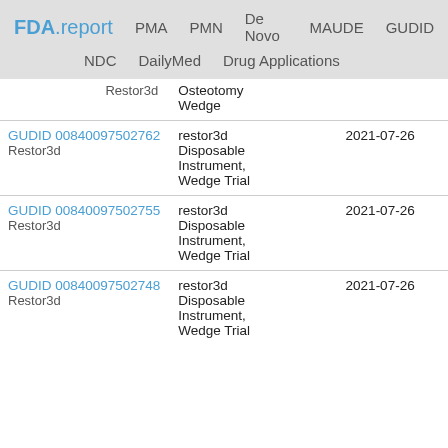FDA.report  PMA  PMN  De Novo  MAUDE  GUDID  NDC  DailyMed  Drug Applications
| ID / Manufacturer | Product Name | Date |
| --- | --- | --- |
| Restor3d | Osteotomy Wedge |  |
| GUDID 00840097502762
Restor3d | restor3d Disposable Instrument, Wedge Trial | 2021-07-26 |
| GUDID 00840097502755
Restor3d | restor3d Disposable Instrument, Wedge Trial | 2021-07-26 |
| GUDID 00840097502748
Restor3d | restor3d Disposable Instrument, Wedge Trial | 2021-07-26 |